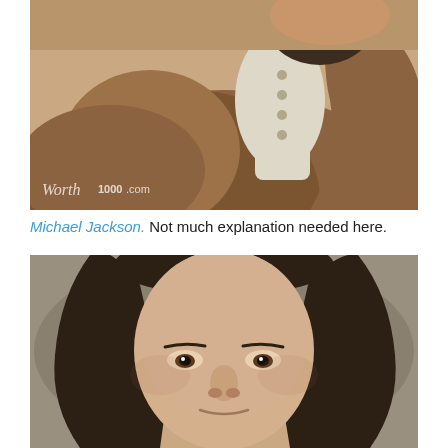[Figure (illustration): Classical portrait painting style illustration of Michael Jackson in an 18th century style, showing a heavyset figure in a brown coat with white shirt/cravat, viewed from chest up. Watermark reads 'Worth1000.com' in lower left.]
Michael Jackson. Not much explanation needed here.
[Figure (illustration): Classical portrait painting style illustration of a person with long dark hair parted in the middle, facing forward, with pale skin and dark eyes, in a neutral gray-brown background.]